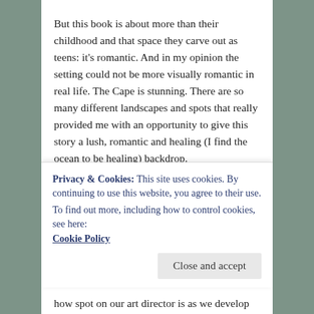But this book is about more than their childhood and that space they carve out as teens: it's romantic. And in my opinion the setting could not be more visually romantic in real life. The Cape is stunning. There are so many different landscapes and spots that really provided me with an opportunity to give this story a lush, romantic and healing (I find the ocean to be healing) backdrop.
The art on the back of this book captures that romance perfectly. I love the way it fits seamlessly next to the forest next to it, even though it's a completely different location. And I especially love that it's clear we're looking at this beach coming out
Privacy & Cookies: This site uses cookies. By continuing to use this website, you agree to their use.
To find out more, including how to control cookies, see here: Cookie Policy
how spot on our art director is as we develop